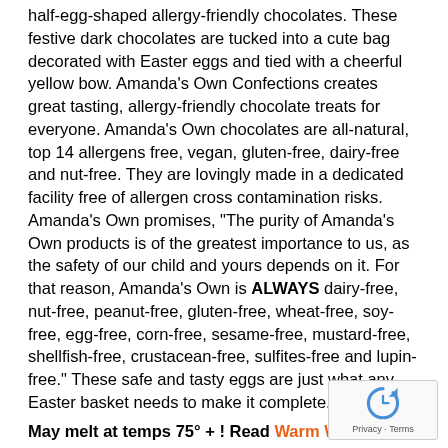half-egg-shaped allergy-friendly chocolates. These festive dark chocolates are tucked into a cute bag decorated with Easter eggs and tied with a cheerful yellow bow. Amanda's Own Confections creates great tasting, allergy-friendly chocolate treats for everyone. Amanda's Own chocolates are all-natural, top 14 allergens free, vegan, gluten-free, dairy-free and nut-free. They are lovingly made in a dedicated facility free of allergen cross contamination risks. Amanda's Own promises, "The purity of Amanda's Own products is of the greatest importance to us, as the safety of our child and yours depends on it. For that reason, Amanda's Own is ALWAYS dairy-free, nut-free, peanut-free, gluten-free, wheat-free, soy-free, egg-free, corn-free, sesame-free, mustard-free, shellfish-free, crustacean-free, sulfites-free and lupin-free." These safe and tasty eggs are just what any Easter basket needs to make it complete.
May melt at temps 75° + ! Read Warm Weather Shipping info.